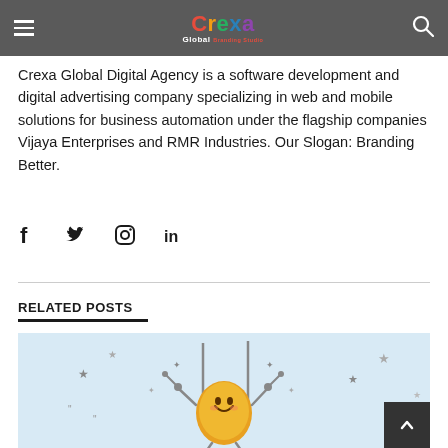Crexa Global Branding Studio
Crexa Global Digital Agency is a software development and digital advertising company specializing in web and mobile solutions for business automation under the flagship companies Vijaya Enterprises and RMR Industries. Our Slogan: Branding Better.
[Figure (infographic): Social media icons: Facebook (f), Twitter (bird), Instagram (camera/circle), LinkedIn (in)]
RELATED POSTS
[Figure (illustration): Light blue background with a cartoon golden nugget character with a smiley face, arms and legs extended in a celebratory pose, surrounded by stars and sparkle decorations]